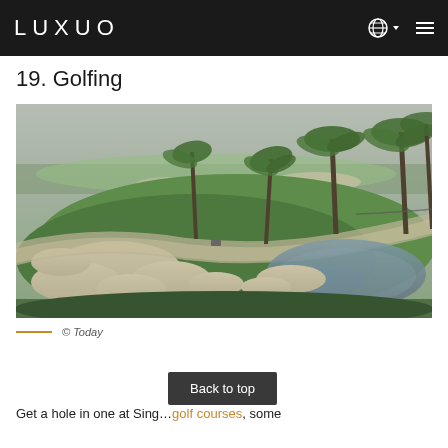LUXUO
19. Golfing
[Figure (photo): Aerial view of a lush green golf course with bunkers, a water hazard pond, and palm trees in the background, hazy sky.]
© Today
Get a hole in one at Singapore's sprawling golf courses, some